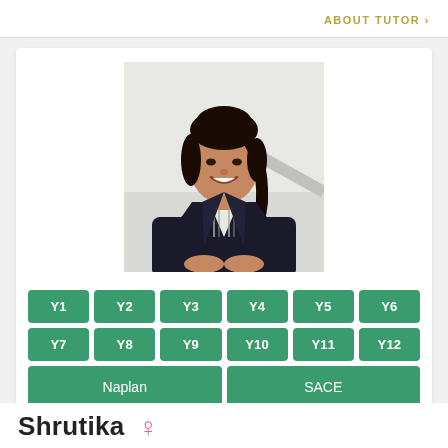ABOUT TUTOR ›
[Figure (photo): Professional headshot of a young woman with dark hair in a ponytail, wearing a black blazer over a striped shirt, smiling, with a light background]
Y1 Y2 Y3 Y4 Y5 Y6 Y7 Y8 Y9 Y10 Y11 Y12 Naplan SACE
Shrutika ♀